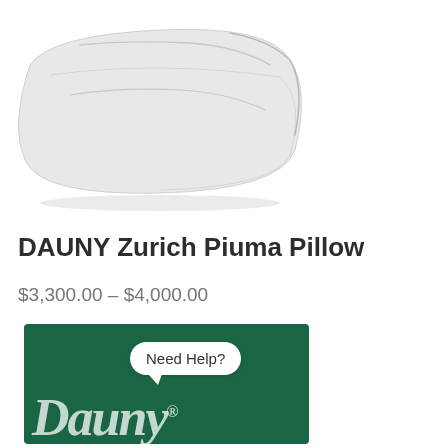[Figure (photo): White fluffy pillow product photo on white background, DAUNY Zurich Piuma Pillow]
DAUNY Zurich Piuma Pillow
$3,300.00 – $4,000.00
[Figure (logo): Dark green banner with Dauny brand logo in white italic script with registered trademark symbol, and a Need Help? speech bubble with WhatsApp icon]